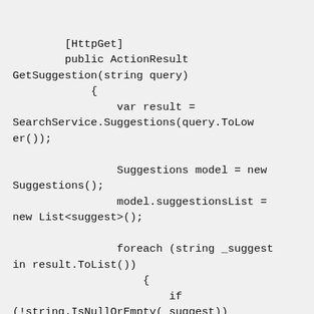[HttpGet]
        public ActionResult GetSuggestion(string query)
            {
                var result = SearchService.Suggestions(query.ToLower());

                Suggestions model = new Suggestions();
                model.suggestionsList = new List<suggest>();

                foreach (string _suggest in result.ToList())
                    {
                        if (!string.IsNullOrEmpty(_suggest))
                            {
                                string suggestValue = _suggest;
                                suggest item = new suggest();